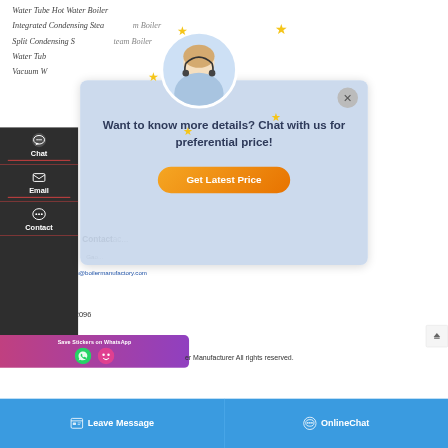Water Tube Hot Water Boiler
Integrated Condensing Steam Boiler
Split Condensing Steam Boiler
Water Tube Boiler
Vacuum Water Boiler
[Figure (screenshot): Chat popup overlay with customer service avatar, stars decoration, bold text 'Want to know more details? Chat with us for preferential price!' and orange 'Get Latest Price' button]
Chat
Email
Contact
quotation@boilermanufactory.com
0086-371-60922096
Save Stickers on WhatsApp
er Manufacturer All rights reserved.
Leave Message
OnlineChat